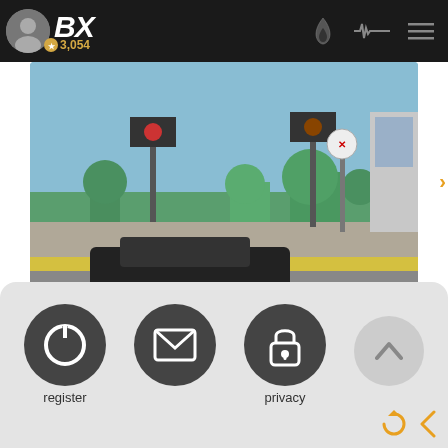BX | 3,054
[Figure (screenshot): Video thumbnail showing a railroad crossing scene with traffic signals, trees, and a yellow curb in the foreground against a blue sky]
Aug 18 - Only in Dade County | @news | 61 replies | 44 min ago | 13 | by NamelessONE | 1d
[Figure (screenshot): Bottom navigation panel with three dark circular buttons: register (power icon), message (envelope icon), privacy (lock icon), and an up-arrow button. Bottom right has refresh and back navigation in orange.]